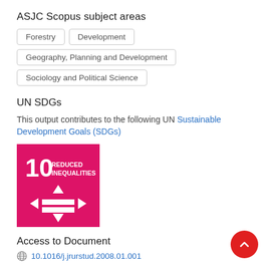ASJC Scopus subject areas
Forestry
Development
Geography, Planning and Development
Sociology and Political Science
UN SDGs
This output contributes to the following UN Sustainable Development Goals (SDGs)
[Figure (infographic): UN SDG 10 badge: pink/magenta square with '10 REDUCED INEQUALITIES' text and the SDG 10 icon (arrows and equals sign)]
Access to Document
10.1016/j.jrurstud.2008.01.001